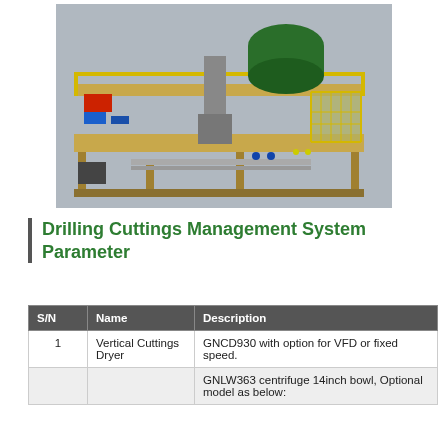[Figure (engineering-diagram): 3D CAD rendering of a Drilling Cuttings Management System skid showing vertical cuttings dryer, centrifuge, pumps, and support frame with yellow safety railings on a platform.]
Drilling Cuttings Management System Parameter
| S/N | Name | Description |
| --- | --- | --- |
| 1 | Vertical Cuttings Dryer | GNCD930 with option for VFD or fixed speed. |
|  |  | GNLW363 centrifuge 14inch bowl, Optional model as below: |